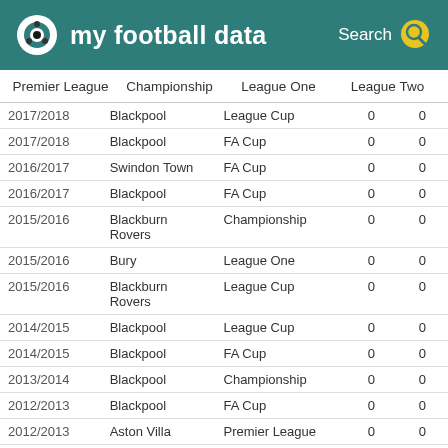my football data
Premier League  Championship  League One  League Two
| Season | Club | Competition | Col4 | Col5 |
| --- | --- | --- | --- | --- |
| 2017/2018 | Blackpool | League Cup | 0 | 0 |
| 2017/2018 | Blackpool | FA Cup | 0 | 0 |
| 2016/2017 | Swindon Town | FA Cup | 0 | 0 |
| 2016/2017 | Blackpool | FA Cup | 0 | 0 |
| 2015/2016 | Blackburn Rovers | Championship | 0 | 0 |
| 2015/2016 | Bury | League One | 0 | 0 |
| 2015/2016 | Blackburn Rovers | League Cup | 0 | 0 |
| 2014/2015 | Blackpool | League Cup | 0 | 0 |
| 2014/2015 | Blackpool | FA Cup | 0 | 0 |
| 2013/2014 | Blackpool | Championship | 0 | 0 |
| 2012/2013 | Blackpool | FA Cup | 0 | 0 |
| 2012/2013 | Aston Villa | Premier League | 0 | 0 |
| 2012/2013 | Aston Villa | League Cup | 0 | 0 |
| 2011/2012 | Leicester | Championship | 0 | 0 |